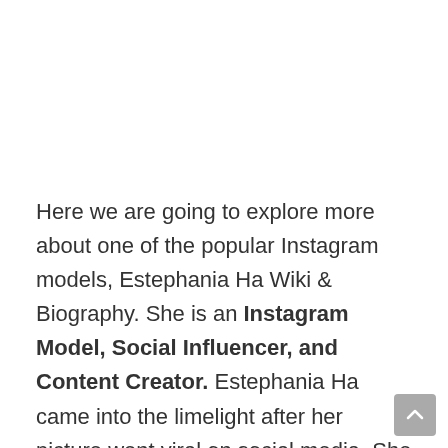Here we are going to explore more about one of the popular Instagram models, Estephania Ha Wiki & Biography. She is an Instagram Model, Social Influencer, and Content Creator. Estephania Ha came into the limelight after her picture went viral on social media. She is well-known for her hot and bold photos posted on Instagram. The model was born on the 1st of May 1995 in Franconia